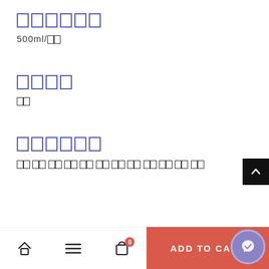〇〇〇〇〇〇 (CJK redacted)
500ml/〇〇
〇〇〇〇 (CJK redacted)
〇〇
〇〇〇〇〇〇 (CJK redacted)
〇〇〇〇〇〇〇〇〇〇〇〇〇〇〇〇〇〇〇〇〇〇〇〇
ADD TO CART  |  Home  |  Menu  |  Cart (0)